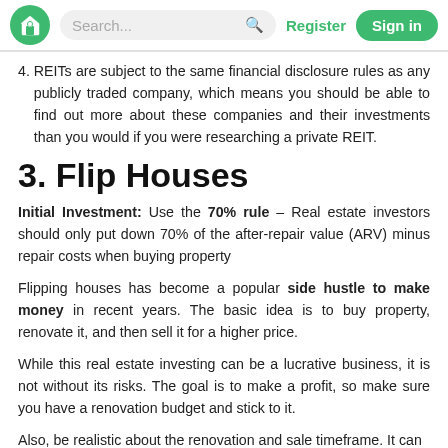Search... Register Sign in
4. REITs are subject to the same financial disclosure rules as any publicly traded company, which means you should be able to find out more about these companies and their investments than you would if you were researching a private REIT.
3. Flip Houses
Initial Investment: Use the 70% rule – Real estate investors should only put down 70% of the after-repair value (ARV) minus repair costs when buying property
Flipping houses has become a popular side hustle to make money in recent years. The basic idea is to buy property, renovate it, and then sell it for a higher price.
While this real estate investing can be a lucrative business, it is not without its risks. The goal is to make a profit, so make sure you have a renovation budget and stick to it.
Also, be realistic about the renovation and sale timeframe. It can